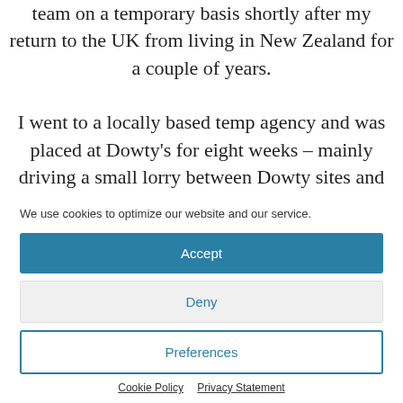I started working at Ane Court on the Maintenance team on a temporary basis shortly after my return to the UK from living in New Zealand for a couple of years.

I went to a locally based temp agency and was placed at Dowty's for eight weeks – mainly driving a small lorry between Dowty sites and working with the team based
We use cookies to optimize our website and our service.
Accept
Deny
Preferences
Cookie Policy   Privacy Statement